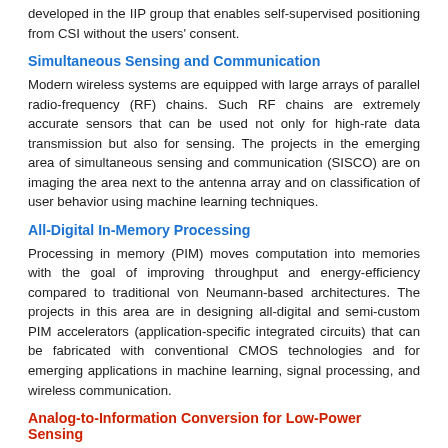developed in the IIP group that enables self-supervised positioning from CSI without the users' consent.
Simultaneous Sensing and Communication
Modern wireless systems are equipped with large arrays of parallel radio-frequency (RF) chains. Such RF chains are extremely accurate sensors that can be used not only for high-rate data transmission but also for sensing. The projects in the emerging area of simultaneous sensing and communication (SISCO) are on imaging the area next to the antenna array and on classification of user behavior using machine learning techniques.
All-Digital In-Memory Processing
Processing in memory (PIM) moves computation into memories with the goal of improving throughput and energy-efficiency compared to traditional von Neumann-based architectures. The projects in this area are in designing all-digital and semi-custom PIM accelerators (application-specific integrated circuits) that can be fabricated with conventional CMOS technologies and for emerging applications in machine learning, signal processing, and wireless communication.
Analog-to-Information Conversion for Low-Power Sensing
Always-on sensors that continuously monitor the environment for certain events must operate with energy-efficient classification and detection pipelines. The projects in this area build upon a novel classification pipeline developed in the IIP group called analog-to-feature (A2F) conversion that